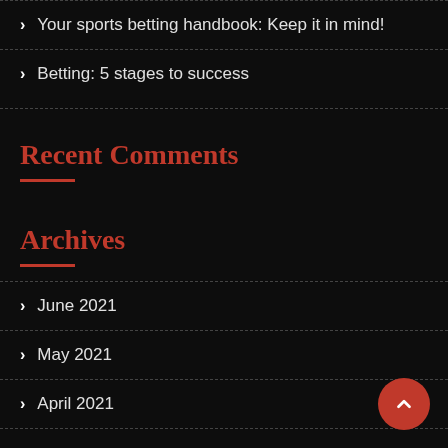Your sports betting handbook: Keep it in mind!
Betting: 5 stages to success
Recent Comments
Archives
June 2021
May 2021
April 2021